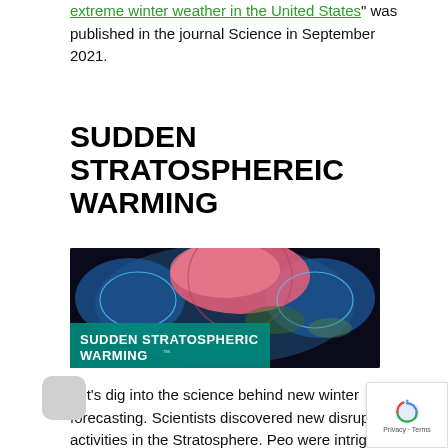"extreme winter weather in the United States" was published in the journal Science in September 2021.
SUDDEN STRATOSPHEREIC WARMING
[Figure (illustration): Illustration of Earth viewed from above the North Pole showing a pink/red blob representing sudden stratospheric warming over the Arctic region, with blue areas on either side, and a teal banner overlay reading 'SUDDEN STRATOSPHERIC WARMING']
Let's dig into the science behind new winter forecasting. Scientists discovered new disruptive activities in the Stratosphere. Peo were intrigued and alarmed to learn about